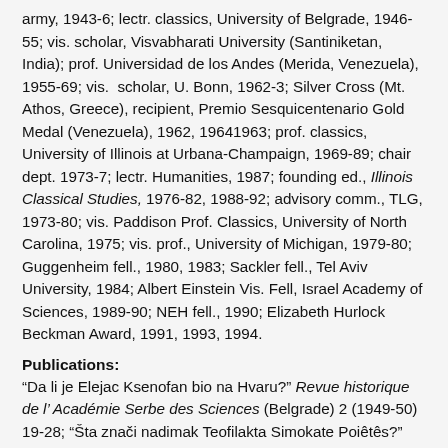army, 1943-6; lectr. classics, University of Belgrade, 1946-55; vis. scholar, Visvabharati University (Santiniketan, India); prof. Universidad de los Andes (Merida, Venezuela), 1955-69; vis. scholar, U. Bonn, 1962-3; Silver Cross (Mt. Athos, Greece), recipient, Premio Sesquicentenario Gold Medal (Venezuela), 1962, 19641963; prof. classics, University of Illinois at Urbana-Champaign, 1969-89; chair dept. 1973-7; lectr. Humanities, 1987; founding ed., Illinois Classical Studies, 1976-82, 1988-92; advisory comm., TLG, 1973-80; vis. Paddison Prof. Classics, University of North Carolina, 1975; vis. prof., University of Michigan, 1979-80; Guggenheim fell., 1980, 1983; Sackler fell., Tel Aviv University, 1984; Albert Einstein Vis. Fell, Israel Academy of Sciences, 1989-90; NEH fell., 1990; Elizabeth Hurlock Beckman Award, 1991, 1993, 1994.
Publications:
“Da li je Elejac Ksenofan bio na Hvaru?” Revue historique de l’ Académie Serbe des Sciences (Belgrade) 2 (1949-50) 19-28; “Šta znači nadimak Teofilakta Simokate Poiêtes?” ibid., 29-38; “O...”